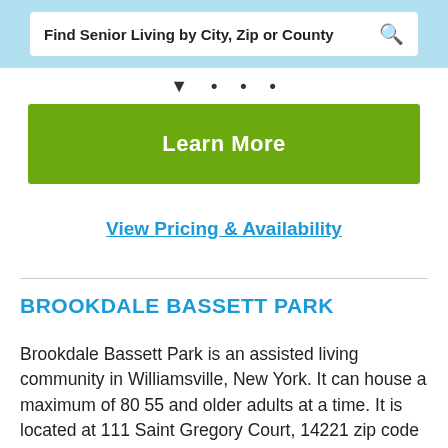Find Senior Living by City, Zip or County
[Figure (logo): Partial logo/text visible at top of page below search bar]
Learn More
View Pricing & Availability
BROOKDALE BASSETT PARK
Brookdale Bassett Park is an assisted living community in Williamsville, New York. It can house a maximum of 80 55 and older adults at a time. It is located at 111 Saint Gregory Court, 14221 zip code in Erie county and helps 55 and older adults who need help with activities of